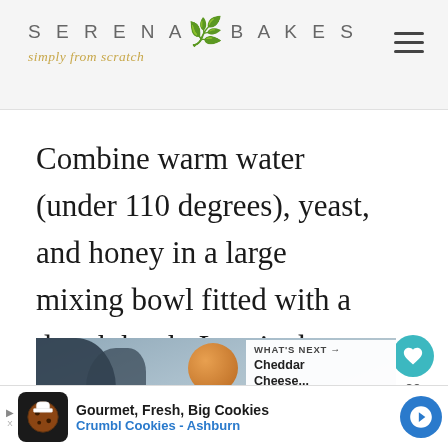SERENA BAKES simply from scratch
Combine warm water (under 110 degrees), yeast, and honey in a large mixing bowl fitted with a dough hook. Let sit about 10 minutes until mixture becomes foamy.
[Figure (photo): Close-up photo of a stand mixer bowl with dough hook, with a 'What's Next' overlay showing a bread image and 'Cheddar Cheese...' label]
[Figure (infographic): Advertisement banner: Gourmet, Fresh, Big Cookies - Crumbl Cookies - Ashburn, with cookie logo and navigation arrow icon]